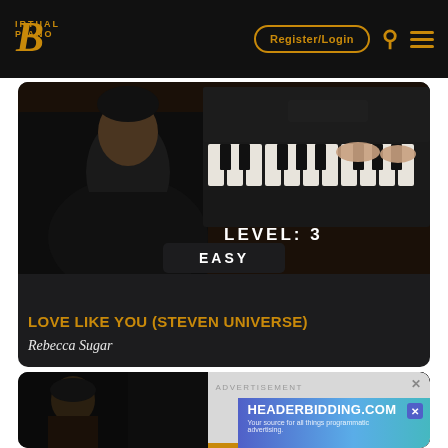Virtual Piano | Register/Login
[Figure (screenshot): Person playing a piano keyboard, dark room, card with LEVEL: 3 and EASY overlay]
LOVE LIKE YOU (STEVEN UNIVERSE)
Rebecca Sugar
[Figure (screenshot): Second music card thumbnail showing a face in dark background with ADVERTISEMENT overlay and HEADERBIDDING.COM ad banner]